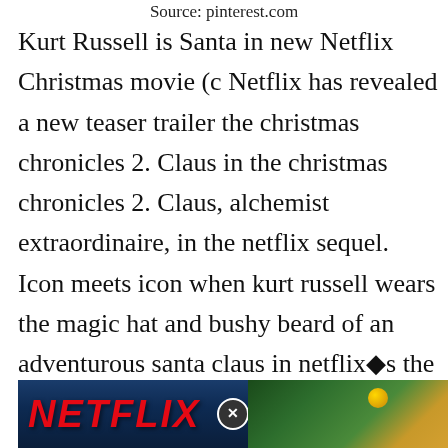Source: pinterest.com
Kurt Russell is Santa in new Netflix Christmas movie (c Netflix has revealed a new teaser trailer the christmas chronicles 2. Claus in the christmas chronicles 2. Claus, alchemist extraordinaire, in the netflix sequel. Icon meets icon when kurt russell wears the magic hat and bushy beard of an adventurous santa claus in netflix■s the christmas chronicles. But is this a new holiday hit?
[Figure (photo): Netflix banner/advertisement showing the Netflix logo in red on a dark blue background with a close/X button overlay and decorative Christmas imagery on the right side]